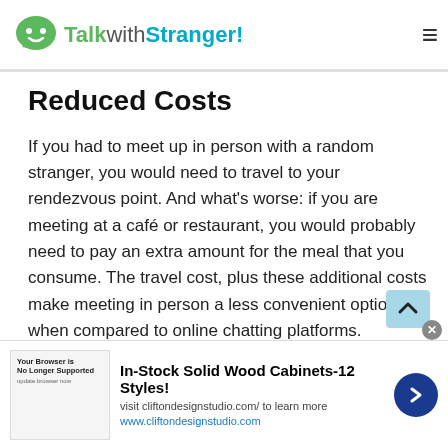TalkwithStranger!
Reduced Costs
If you had to meet up in person with a random stranger, you would need to travel to your rendezvous point. And what's worse: if you are meeting at a café or restaurant, you would probably need to pay an extra amount for the meal that you consume. The travel cost, plus these additional costs make meeting in person a less convenient option when compared to online chatting platforms.
With our site, you do not need to pay for any travel costs. All you need is a stable Wi-Fi connection and a working
[Figure (screenshot): Advertisement banner for In-Stock Solid Wood Cabinets with thumbnail image, headline text, and navigation arrow button]